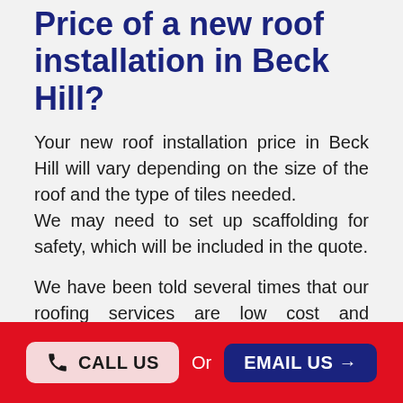Price of a new roof installation in Beck Hill?
Your new roof installation price in Beck Hill will vary depending on the size of the roof and the type of tiles needed.
We may need to set up scaffolding for safety, which will be included in the quote.
We have been told several times that our roofing services are low cost and affordable, and we give out free roof inspections and estimates.
York Roofer is always a phone call away at any time to give you free advice or guidance that you need for any aspects of roofing in Beck Hill.
Our new roof, installation, or replacement pricing estimate
CALL US   Or   EMAIL US →